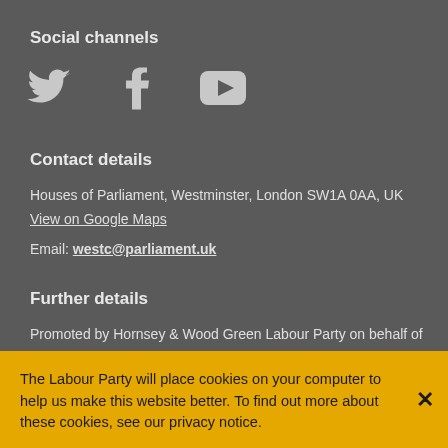Social channels
[Figure (illustration): Three social media icons: Twitter bird icon, Facebook 'f' icon, and YouTube play button icon, displayed in light grey on dark background.]
Contact details
Houses of Parliament, Westminster, London SW1A 0AA, UK
View on Google Maps
Email: westc@parliament.uk
Further details
Promoted by Hornsey & Wood Green Labour Party on behalf of
The Labour Party will place cookies on your computer to help us make this website better. To find out more about these cookies, see our privacy notice.